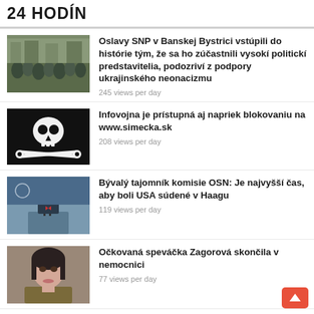24 HODÍN
[Figure (photo): Crowd of people at a public gathering/protest with banners]
Oslavy SNP v Banskej Bystrici vstúpili do histórie tým, že sa ho zúčastnili vysokí politickí predstavitelia, podozriví z podpory ukrajinského neonacizmu
245 views per day
[Figure (photo): Skull and crossbones (Jolly Roger) pirate flag on black background]
Infovojna je prístupná aj napriek blokovaniu na www.simecka.sk
208 views per day
[Figure (photo): Man in suit with bow tie speaking at a podium/microphone]
Bývalý tajomník komisie OSN: Je najvyšší čas, aby boli USA súdené v Haagu
119 views per day
[Figure (photo): Portrait of a woman with dark hair against a blurred background]
Očkovaná speváčka Zagorová skončila v nemocnici
77 views per day
[Figure (photo): Small thumbnail image of a document or article preview]
Odborníčka na zdravotníctvo prepadla na gymnáziu a ukončila drévársku školu.